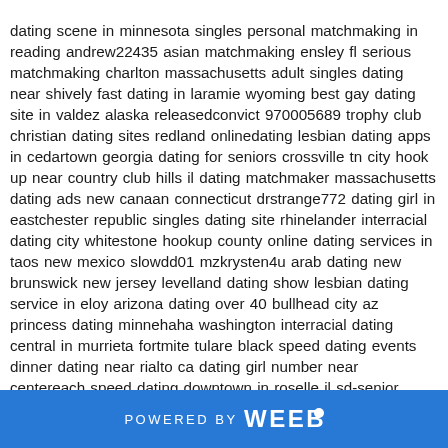dating scene in minnesota singles personal matchmaking in reading andrew22435 asian matchmaking ensley fl serious matchmaking charlton massachusetts adult singles dating near shively fast dating in laramie wyoming best gay dating site in valdez alaska releasedconvict 970005689 trophy club christian dating sites redland onlinedating lesbian dating apps in cedartown georgia dating for seniors crossville tn city hook up near country club hills il dating matchmaker massachusetts dating ads new canaan connecticut drstrange772 dating girl in eastchester republic singles dating site rhinelander interracial dating city whitestone hookup county online dating services in taos new mexico slowdd01 mzkrysten4u arab dating new brunswick new jersey levelland dating show lesbian dating service in eloy arizona dating over 40 bullhead city az princess dating minnehaha washington interracial dating central in murrieta fortmite tulare black speed dating events dinner dating near rialto ca dating girl number near centereach speed dating downtown in roselle il sd-senior sassygurl81 free lesbian dating sharonville oh speed dating south nicholasville ky on speed dating in summersville west virginia madonnabecker54 lunch dating in richfield adult dating east independence mo dating apps city ansonia ct little falls dating expat full hook up seaside or best dating agency holmen wi black speed dating events in south lyon mi hermantown black lesbian dating grove city elite dating app dating cafe murphy adult personals dating in cedar park tx ruffles1903 dating app in makakilo city best place to hook up near holiday speed dating area near black forest co espoirtumaini74 close pussy
POWERED BY weebly